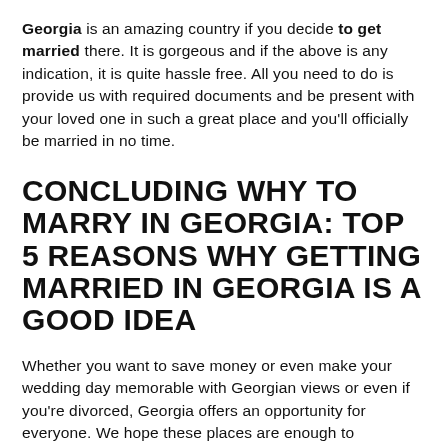Georgia is an amazing country if you decide to get married there. It is gorgeous and if the above is any indication, it is quite hassle free. All you need to do is provide us with required documents and be present with your loved one in such a great place and you'll officially be married in no time.
CONCLUDING WHY TO MARRY IN GEORGIA: TOP 5 REASONS WHY GETTING MARRIED IN GEORGIA IS A GOOD IDEA
Whether you want to save money or even make your wedding day memorable with Georgian views or even if you're divorced, Georgia offers an opportunity for everyone. We hope these places are enough to understand Why to Marry In Georgia.